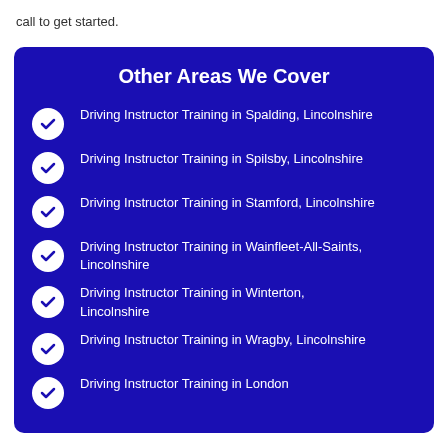call to get started.
Other Areas We Cover
Driving Instructor Training in Spalding, Lincolnshire
Driving Instructor Training in Spilsby, Lincolnshire
Driving Instructor Training in Stamford, Lincolnshire
Driving Instructor Training in Wainfleet-All-Saints, Lincolnshire
Driving Instructor Training in Winterton, Lincolnshire
Driving Instructor Training in Wragby, Lincolnshire
Driving Instructor Training in London